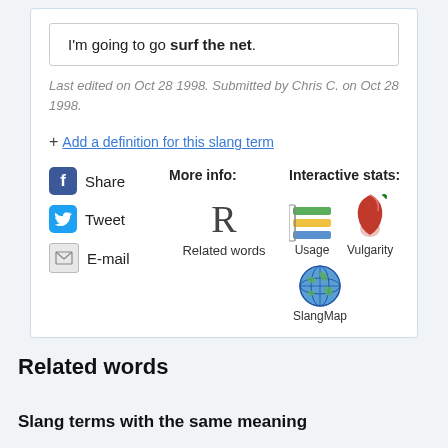I'm going to go surf the net.
Last edited on Oct 28 1998. Submitted by Chris C. on Oct 28 1998.
+ Add a definition for this slang term
[Figure (infographic): Social share buttons (Facebook Share, Tweet, E-mail), More info section with Related words R icon, Interactive stats with Usage bar chart icon, Vulgarity red pepper icon, SlangMap globe icon]
Related words
Slang terms with the same meaning